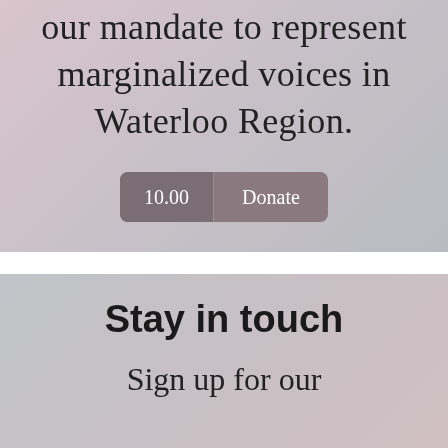our mandate to represent marginalized voices in Waterloo Region.
10.00  Donate
Stay in touch
Sign up for our